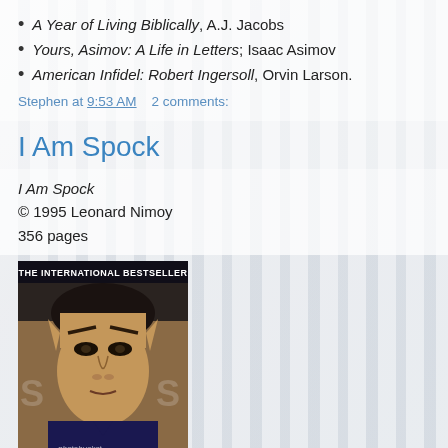A Year of Living Biblically, A.J. Jacobs
Yours, Asimov: A Life in Letters; Isaac Asimov
American Infidel: Robert Ingersoll, Orvin Larson.
Stephen at 9:53 AM    2 comments:
I Am Spock
I Am Spock
© 1995 Leonard Nimoy
356 pages
[Figure (photo): Book cover of 'I Am Spock' showing a close-up of Leonard Nimoy as Spock with text 'THE INTERNATIONAL BESTSELLER' at the top, photobucket watermark at bottom]